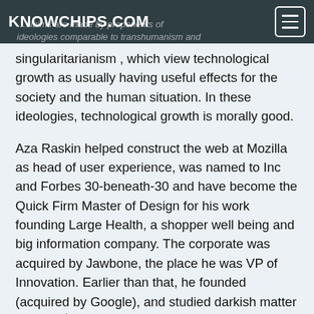KNOWCHIPS.COM
singularitarianism , which view technological growth as usually having useful effects for the society and the human situation. In these ideologies, technological growth is morally good.
Aza Raskin helped construct the web at Mozilla as head of user experience, was named to Inc and Forbes 30-beneath-30 and have become the Quick Firm Master of Design for his work founding Large Health, a shopper well being and big information company. The corporate was acquired by Jawbone, the place he was VP of Innovation. Earlier than that, he founded (acquired by Google), and studied darkish matter physics.Â For Aza, the issue is very personal: his father,